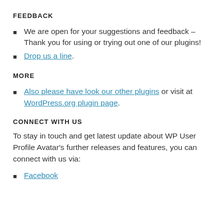FEEDBACK
We are open for your suggestions and feedback – Thank you for using or trying out one of our plugins!
Drop us a line.
MORE
Also please have look our other plugins or visit at WordPress.org plugin page.
CONNECT WITH US
To stay in touch and get latest update about WP User Profile Avatar's further releases and features, you can connect with us via:
Facebook